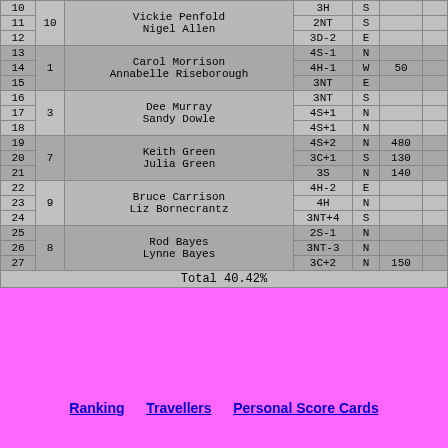| Bd | Pair | Names | Contract | By | Score |  |
| --- | --- | --- | --- | --- | --- | --- |
| 10 |  |  | 3H | S |  |  |
| 11 | 10 | Vickie Penfold / Nigel Allen | 2NT | S |  |  |
| 12 |  |  | 3D-2 | E |  |  |
| 13 |  |  | 4S-1 | N |  |  |
| 14 | 1 | Carol Morrison / Annabelle Riseborough | 4H-1 | W | 50 |  |
| 15 |  |  | 3NT | E |  |  |
| 16 |  |  | 3NT | S |  |  |
| 17 | 3 | Dee Murray / Sandy Dowle | 4S+1 | N |  |  |
| 18 |  |  | 4S+1 | N |  |  |
| 19 |  |  | 4S+2 | N | 480 |  |
| 20 | 7 | Keith Green / Julia Green | 3C+1 | S | 130 |  |
| 21 |  |  | 3S | N | 140 |  |
| 22 |  |  | 4H-2 | E |  |  |
| 23 | 9 | Bruce Carrison / Liz Bornecrantz | 4H | N |  |  |
| 24 |  |  | 3NT+4 | S |  |  |
| 25 |  |  | 2S-1 | N |  |  |
| 26 | 8 | Rod Bayes / Lynne Bayes | 3NT-3 | N |  |  |
| 27 |  |  | 3C+2 | N | 150 |  |
| Total 40.42% |  |  |  |  |  |  |
Ranking   Travellers   Personal Score Cards